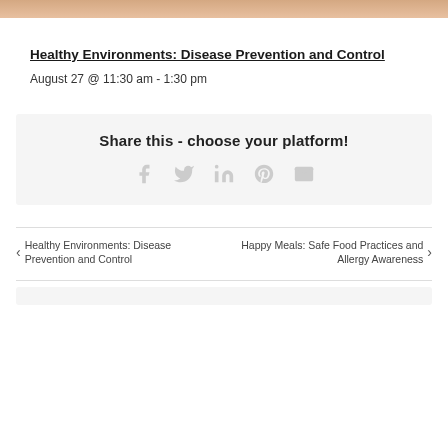[Figure (photo): Top portion of a photo showing a person, cropped at the top of the page]
Healthy Environments: Disease Prevention and Control
August 27 @ 11:30 am - 1:30 pm
Share this - choose your platform!
Social sharing icons: Facebook, Twitter, LinkedIn, Pinterest, Email
Healthy Environments: Disease Prevention and Control
Happy Meals: Safe Food Practices and Allergy Awareness